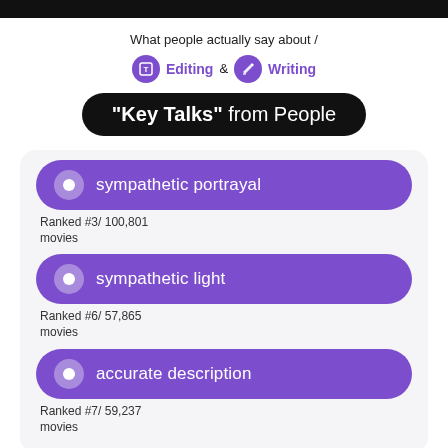What people actually say about /
Editing & Writing
"Key Talks" from People
sympathetic portrayal
Ranked #3/ 100,801 movies
sympathetic light
Ranked #6/ 57,865 movies
accurate description
Ranked #7/ 59,237 movies